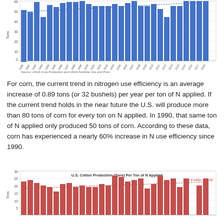[Figure (bar-chart): (Corn chart - partial top)]
Source: USDA Crop Production and USDA Fertilizer Use and Price
For corn, the current trend in nitrogen use efficiency is an average increase of 0.89 tons (or 32 bushels) per year per ton of N applied. If the current trend holds in the near future the U.S. will produce more than 80 tons of corn for every ton on N applied. In 1990, that same ton of N applied only produced 50 tons of corn. According to these data, corn has experienced a nearly 60% increase in N use efficiency since 1990.
[Figure (bar-chart): U.S. Cotton Production (Tons) Per Ton of N Applied]